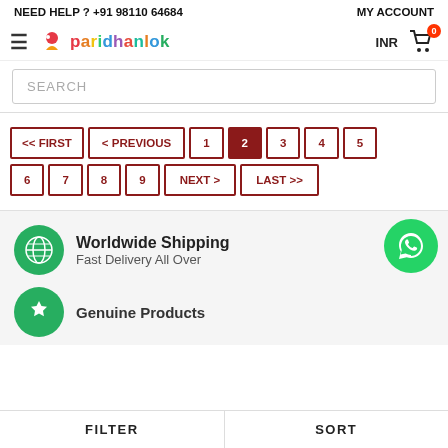NEED HELP ? +91 98110 64684   MY ACCOUNT
[Figure (logo): Paridhanlok logo with colorful text and figure icon]
INR  Cart 0
SEARCH
Pagination: << FIRST  < PREVIOUS  1  2  3  4  5  6  7  8  9  NEXT >  LAST >>
[Figure (illustration): Globe icon in green circle]
Worldwide Shipping
Fast Delivery All Over
[Figure (illustration): WhatsApp icon in green circle]
[Figure (illustration): Genuine Products icon in green circle (partially visible)]
Genuine Products (partially visible)
FILTER   SORT